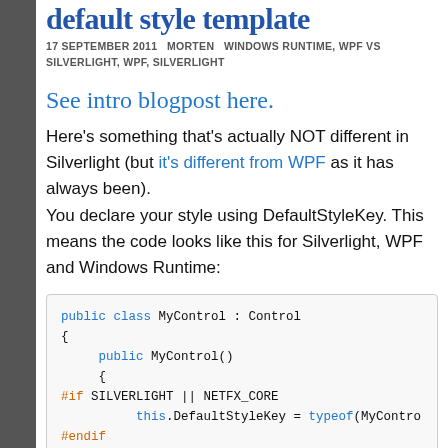default style template
17 SEPTEMBER 2011   MORTEN   WINDOWS RUNTIME, WPF VS SILVERLIGHT, WPF, SILVERLIGHT
See intro blogpost here.
Here's something that's actually NOT different in Silverlight (but it's different from WPF as it has always been).
You declare your style using DefaultStyleKey. This means the code looks like this for Silverlight, WPF and Windows Runtime:
public class MyControl : Control
{
    public MyControl()
    {
#if SILVERLIGHT || NETFX_CORE
            this.DefaultStyleKey = typeof(MyContro
#endif
    }